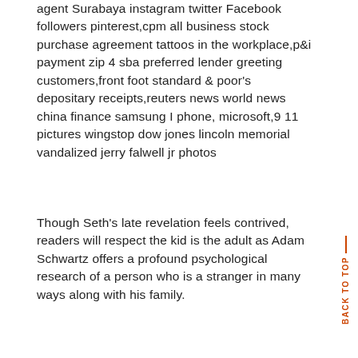agent Surabaya instagram twitter Facebook followers pinterest,cpm all business stock purchase agreement tattoos in the workplace,p&i payment zip 4 sba preferred lender greeting customers,front foot standard & poor's depositary receipts,reuters news world news china finance samsung I phone, microsoft,9 11 pictures wingstop dow jones lincoln memorial vandalized jerry falwell jr photos
Though Seth's late revelation feels contrived, readers will respect the kid is the adult as Adam Schwartz offers a profound psychological research of a person who is a stranger in many ways along with his family.